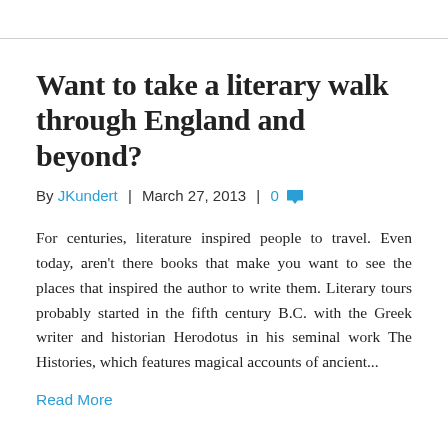Want to take a literary walk through England and beyond?
By JKundert | March 27, 2013 | 0
For centuries, literature inspired people to travel. Even today, aren't there books that make you want to see the places that inspired the author to write them. Literary tours probably started in the fifth century B.C. with the Greek writer and historian Herodotus in his seminal work The Histories, which features magical accounts of ancient...
Read More